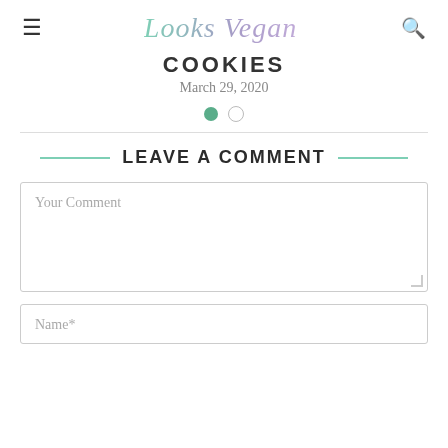≡  Looks Vegan  🔍
COOKIES
March 29, 2020
LEAVE A COMMENT
Your Comment
Name*